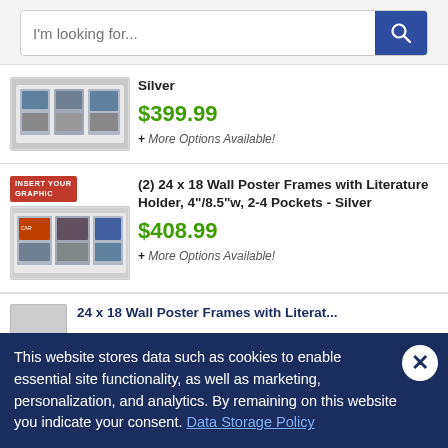[Figure (screenshot): Search bar with placeholder text 'I'm looking for...' and a blue search button with magnifying glass icon]
[Figure (photo): Product image of wall poster frames with literature holder, silver finish, first listing]
Silver
$399.99
+ More Options Available!
[Figure (photo): Product image of (2) 24 x 18 Wall Poster Frames with Literature Holder, 4"/8.5"w, 2-4 Pockets - Silver, with INSERT YOUR GRAPHIC badge]
(2) 24 x 18 Wall Poster Frames with Literature Holder, 4"/8.5"w, 2-4 Pockets - Silver
$408.99
+ More Options Available!
24 x 18 Wall Poster Frames with Literat...
This website stores data such as cookies to enable essential site functionality, as well as marketing, personalization, and analytics. By remaining on this website you indicate your consent. Data Storage Policy